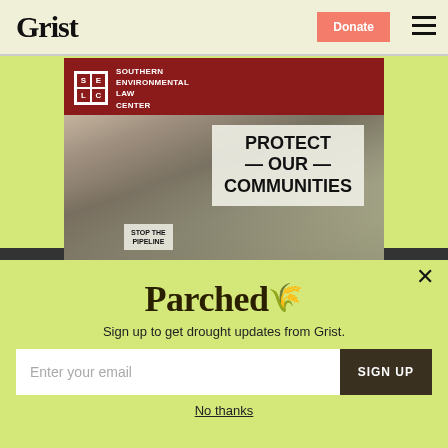Grist | Donate
[Figure (illustration): Southern Environmental Law Center (SELC) advertisement banner showing protesters holding signs reading 'PROTECT OUR COMMUNITIES' and 'STOP THE PIPELINE' with text 'Solutions for environmental justice start in the South.']
Parched
Sign up to get drought updates from Grist.
Enter your email  SIGN UP
No thanks